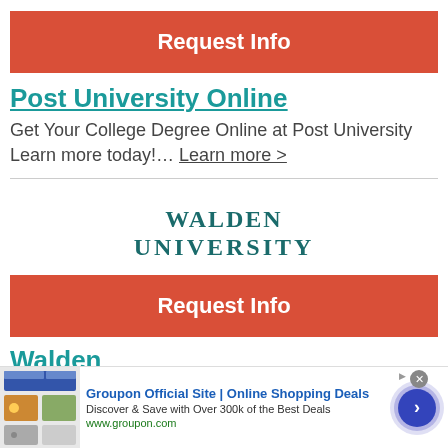[Figure (other): Red 'Request Info' button for Post University Online]
Post University Online
Get Your College Degree Online at Post University Learn more today!… Learn more >
[Figure (logo): Walden University logo in teal/dark teal serif text]
[Figure (other): Red 'Request Info' button for Walden]
Walden
Earn your degree at Walden University?no. 1 in
[Figure (other): Groupon advertisement banner at bottom: 'Groupon Official Site | Online Shopping Deals' with images and arrow button]